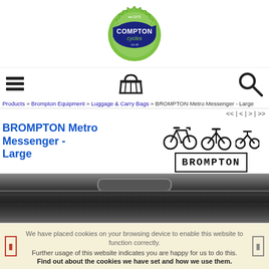[Figure (logo): Compton Cycles logo - green gear/cog shape with blue banner reading COMPTON cycles est.1975]
[Figure (infographic): Navigation bar with hamburger menu icon on left, shopping basket icon in center, search icon on right]
Products » Brompton Equipment » Luggage & Carry Bags » BROMPTON Metro Messenger - Large
<< | < | > | >>
BROMPTON Metro Messenger - Large
[Figure (illustration): Three Brompton bicycle folding silhouette icons and BROMPTON brand logo in rectangular border]
[Figure (photo): Black messenger bag (BROMPTON Metro Messenger Large) close-up photo showing handle and zipper]
We have placed cookies on your browsing device to enable this website to function correctly.
Further usage of this website indicates you are happy for us to do this.
Find out about the cookies we have set and how we use them.